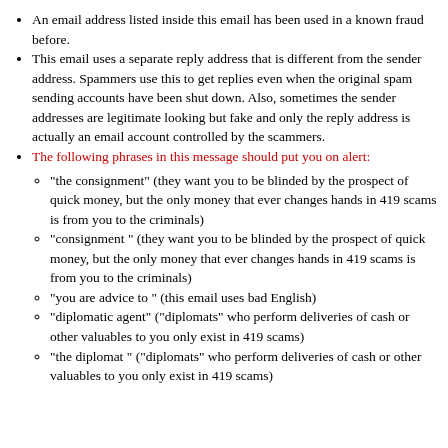An email address listed inside this email has been used in a known fraud before.
This email uses a separate reply address that is different from the sender address. Spammers use this to get replies even when the original spam sending accounts have been shut down. Also, sometimes the sender addresses are legitimate looking but fake and only the reply address is actually an email account controlled by the scammers.
The following phrases in this message should put you on alert:
"the consignment" (they want you to be blinded by the prospect of quick money, but the only money that ever changes hands in 419 scams is from you to the criminals)
"consignment " (they want you to be blinded by the prospect of quick money, but the only money that ever changes hands in 419 scams is from you to the criminals)
"you are advice to " (this email uses bad English)
"diplomatic agent" ("diplomats" who perform deliveries of cash or other valuables to you only exist in 419 scams)
"the diplomat " ("diplomats" who perform deliveries of cash or other valuables to you only exist in 419 scams)